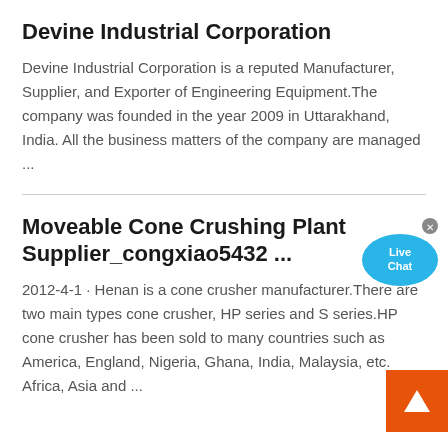Devine Industrial Corporation
Devine Industrial Corporation is a reputed Manufacturer, Supplier, and Exporter of Engineering Equipment.The company was founded in the year 2009 in Uttarakhand, India. All the business matters of the company are managed ...
Moveable Cone Crushing Plant Supplier_congxiao5432 ...
2012-4-1 · Henan is a cone crusher manufacturer.There are two main types cone crusher, HP series and S series.HP cone crusher has been sold to many countries such as America, England, Nigeria, Ghana, India, Malaysia, etc. Africa, Asia and ...